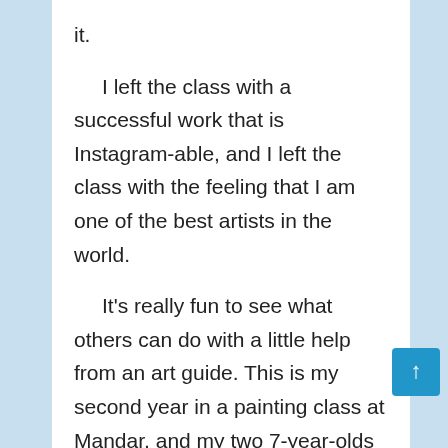it.

    I left the class with a successful work that is Instagram-able, and I left the class with the feeling that I am one of the best artists in the world.

    It's really fun to see what others can do with a little help from an art guide. This is my second year in a painting class at Mandar, and my two 7-year-olds love it. Here are some great organizations and places where you can have your art repaired. The Alameda County Library has joined the Art IS